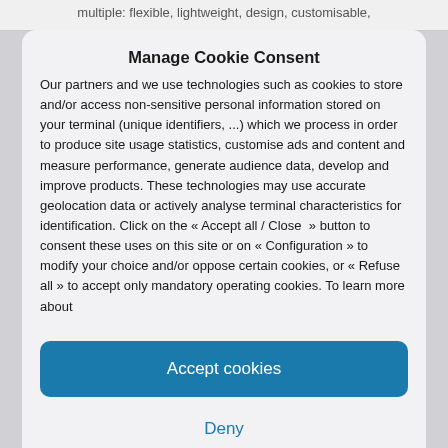multiple: flexible, lightweight, design, customisable,
Manage Cookie Consent
Our partners and we use technologies such as cookies to store and/or access non-sensitive personal information stored on your terminal (unique identifiers, ...) which we process in order to produce site usage statistics, customise ads and content and measure performance, generate audience data, develop and improve products. These technologies may use accurate geolocation data or actively analyse terminal characteristics for identification. Click on the « Accept all / Close » button to consent these uses on this site or on « Configuration » to modify your choice and/or oppose certain cookies, or « Refuse all » to accept only mandatory operating cookies. To learn more about
Accept cookies
Deny
Configuration